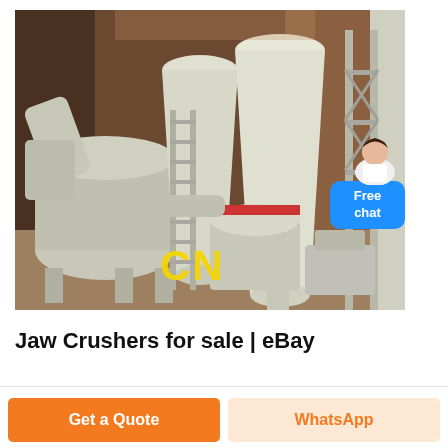[Figure (photo): Industrial grinding/milling equipment with large white cyclone separators, pipes, and machinery inside a warehouse. Yellow 'CN' watermark visible at bottom center. A 'Free chat' bubble with a person icon appears in the top-right corner of the image.]
Jaw Crushers for sale | eBay
Get a Quote
WhatsApp